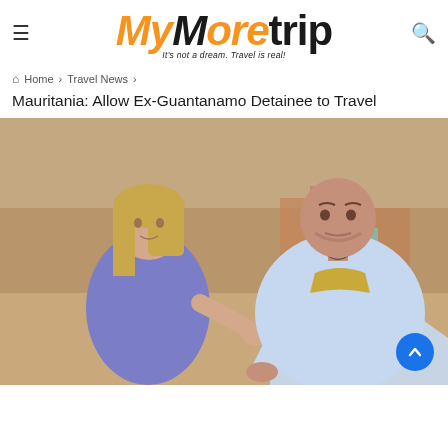MyMoretrip — It's not a dream. Travel is real!
Home > Travel News >
Mauritania: Allow Ex-Guantanamo Detainee to Travel
[Figure (photo): Two people conversing outdoors in a sandy desert town setting. On the left, a blonde woman in a purple blouse gestures with her hand. On the right, a bald man wearing a light blue traditional Mauritanian robe (boubou) with a gold embroidered collar listens.]